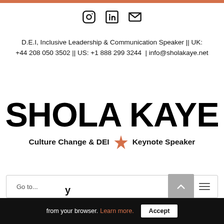[Figure (illustration): Orange/salmon top bar decorative stripe]
[Figure (illustration): Social media icons: Instagram, LinkedIn, Email/envelope]
D.E.I, Inclusive Leadership & Communication Speaker || UK: +44 208 050 3502 || US: +1 888 299 3244  |  info@sholakaye.net
SHOLA KAYE
Culture Change & DEI ★ Keynote Speaker
Go to...
from your browser. Learn more.
Accept